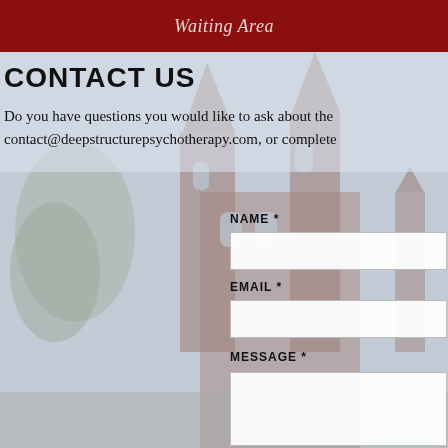Waiting Area
CONTACT US
Do you have questions you would like to ask about the contact@deepstructurepsychotherapy.com, or complete
[Figure (photo): Background photo of a Gothic-style red brick church with tall spires and a blue cloudy sky, rendered with gray/muted overlay]
NAME *
EMAIL *
MESSAGE *